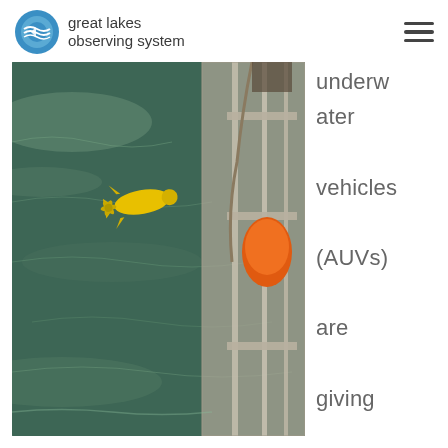great lakes observing system
[Figure (photo): A yellow autonomous underwater vehicle (AUV) being deployed from a boat over dark green water. An orange buoy and metal railing of the boat are visible on the right side.]
underwater vehicles (AUVs) are giving researchers a new way to study the Great